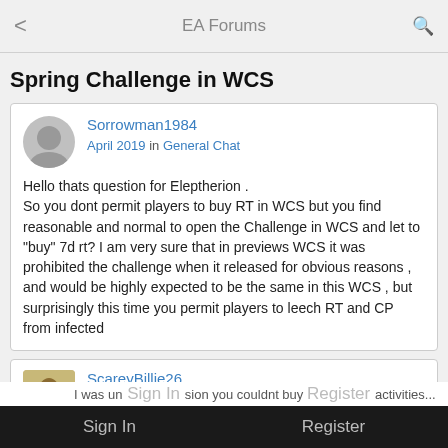EA Forums
Spring Challenge in WCS
Sorrowman1984
April 2019 in General Chat

Hello thats question for Eleptherion .
So you dont permit players to buy RT in WCS but you find reasonable and normal to open the Challenge in WCS and let to "buy" 7d rt? I am very sure that in previews WCS it was prohibited the challenge when it released for obvious reasons , and would be highly expected to be the same in this WCS , but surprisingly this time you permit players to leech RT and CP from infected
ScareyBillie26
April 2019

I was under the impression you couldnt buy activities...
Sign In    Register